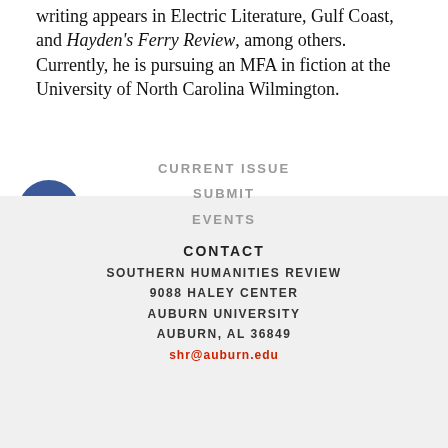writing appears in Electric Literature, Gulf Coast, and Hayden's Ferry Review, among others. Currently, he is pursuing an MFA in fiction at the University of North Carolina Wilmington.
[Figure (illustration): Three social media icons stacked vertically: Facebook (dark blue circle with white f), Twitter (cyan circle with white bird), Instagram (pink/purple gradient circle with white camera icon)]
CURRENT ISSUE
SUBMIT
EVENTS
ARCHIVES
STORE
CONTACT
SOUTHERN HUMANITIES REVIEW
9088 HALEY CENTER
AUBURN UNIVERSITY
AUBURN, AL 36849
shr@auburn.edu